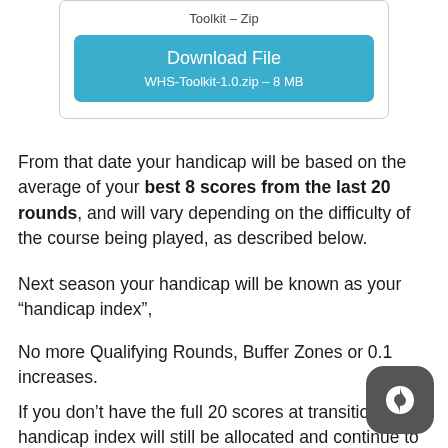[Figure (screenshot): Download button for WHS-Toolkit-1.0.zip – 8 MB, blue rounded rectangle button]
From that date your handicap will be based on the average of your best 8 scores from the last 20 rounds, and will vary depending on the difficulty of the course being played, as described below.
Next season your handicap will be known as your “handicap index”,
No more Qualifying Rounds, Buffer Zones or 0.1 increases.
If you don’t have the full 20 scores at transition your handicap index will still be allocated and continue to be